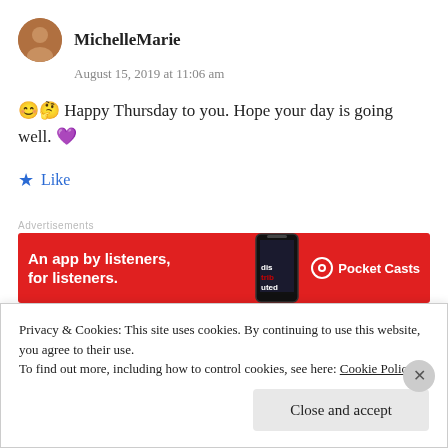MichelleMarie
August 15, 2019 at 11:06 am
😊🤔 Happy Thursday to you. Hope your day is going well. 💜
★ Like
Advertisements
[Figure (screenshot): Pocket Casts advertisement banner: red background with text 'An app by listeners, for listeners.' and Pocket Casts logo]
REPORT THIS AD
Privacy & Cookies: This site uses cookies. By continuing to use this website, you agree to their use. To find out more, including how to control cookies, see here: Cookie Policy
Close and accept